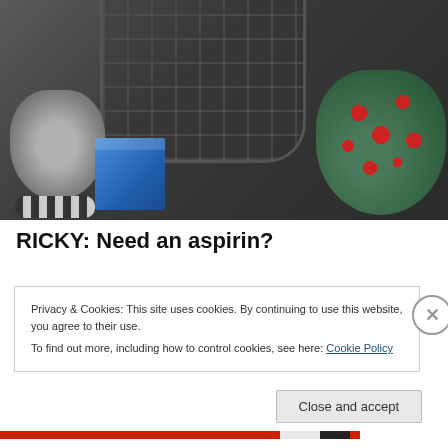[Figure (photo): Photo showing a raccoon figurine on the left, a blue box in the center, and a decorative crocheted or knitted cat/creature with red and green yarn on the right, all on a dark surface with a wire cage in the background.]
RICKY: Need an aspirin?
Privacy & Cookies: This site uses cookies. By continuing to use this website, you agree to their use.
To find out more, including how to control cookies, see here: Cookie Policy
Close and accept